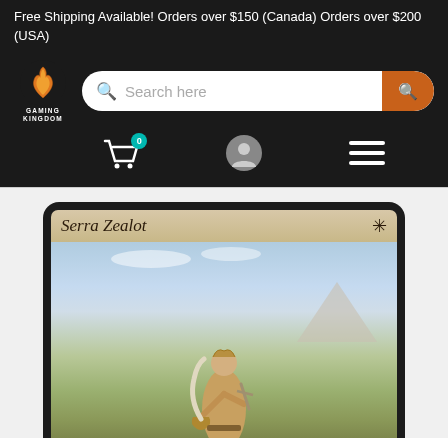Free Shipping Available! Orders over $150 (Canada) Orders over $200 (USA)
[Figure (logo): Gaming Kingdom logo with phoenix flame icon and search bar with orange search button]
[Figure (photo): Magic: The Gathering card 'Serra Zealot' showing a female warrior in golden armor holding a bell and sword, standing in an outdoor scene with stone idols]